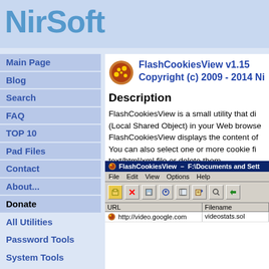NirSoft
Main Page
Blog
Search
FAQ
TOP 10
Pad Files
Contact
About...
Donate
All Utilities
Password Tools
System Tools
Browser Tools
Programmer Tools
Network Tools
FlashCookiesView v1.15
Copyright (c) 2009 - 2014 Ni
Description
FlashCookiesView is a small utility that di (Local Shared Object) in your Web browse FlashCookiesView displays the content of You can also select one or more cookie fi text/html/xml file or delete them.
[Figure (screenshot): Screenshot of FlashCookiesView application window showing menu bar with File, Edit, View, Options, Help menus, toolbar with icons, and a table with columns URL and Filename. One row shows http://video.google.com with videostats.sol]